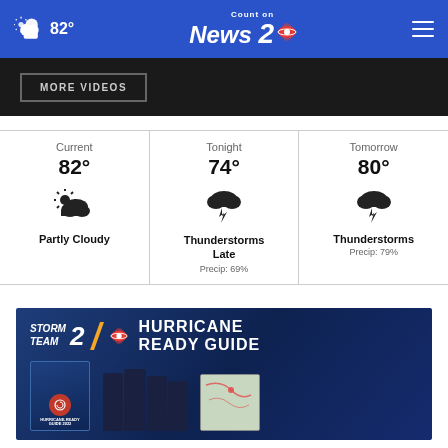Count on News 2 | 82°
More Videos
| Current | Tonight | Tomorrow |
| --- | --- | --- |
| 82° | 74° | 80° |
| Partly Cloudy | Thunderstorms Late
Precip: 69% | Thunderstorms
Precip: 79% |
[Figure (screenshot): Storm Team 2 Hurricane Ready Guide advertisement banner with book covers and meteorologist photos]